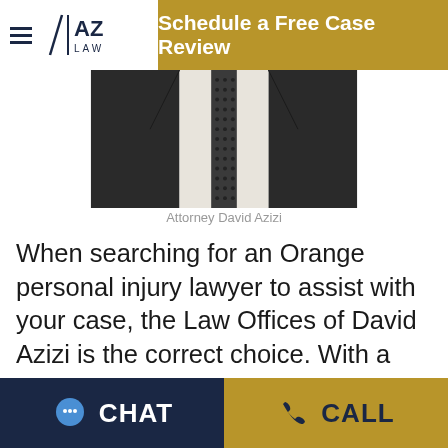Schedule a Free Case Review
[Figure (photo): Partial photo of attorney in dark suit jacket with white shirt and dotted tie, cropped at chest level]
Attorney David Azizi
When searching for an Orange personal injury lawyer to assist with your case, the Law Offices of David Azizi is the correct choice. With a wealth of combined knowledge and experience, the staff of the Law Offices of David Azizi...
CHAT  CALL